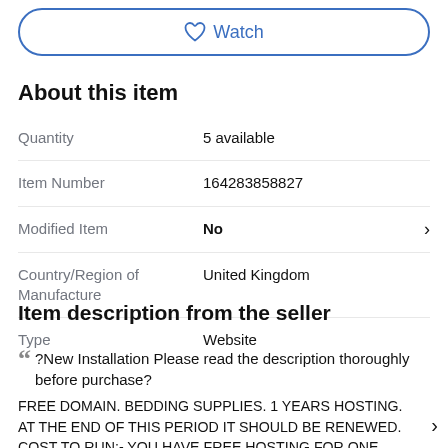[Figure (other): Watch button with heart icon, rounded border in blue]
About this item
| Label | Value |
| --- | --- |
| Quantity | 5 available |
| Item Number | 164283858827 |
| Modified Item | No |
| Country/Region of Manufacture | United Kingdom |
| Type | Website |
Item description from the seller
?New Installation Please read the description thoroughly before purchase?
FREE DOMAIN. BEDDING SUPPLIES. 1 YEARS HOSTING. AT THE END OF THIS PERIOD IT SHOULD BE RENEWED. COST TO RUN:- YOU HAVE FREE HOSTING FOR ONE YEAR, AFTER THAT THE ONLY ONGOING COST IS THE SMALL HOSTING FEE